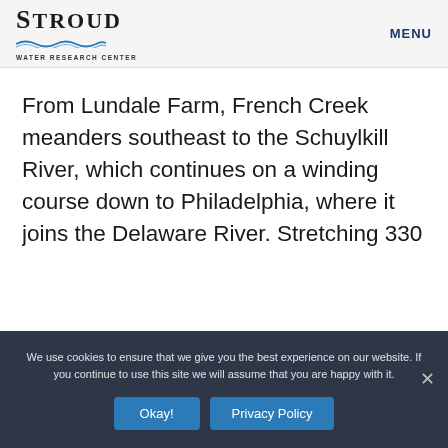Stroud Water Research Center — MENU
From Lundale Farm, French Creek meanders southeast to the Schuylkill River, which continues on a winding course down to Philadelphia, where it joins the Delaware River. Stretching 330 densely populated miles from New York's Catskill Mountains to the Atlantic Ocean, the Delaware is the lifeblood of the region, providing drinking water for more than 13 million people
We use cookies to ensure that we give you the best experience on our website. If you continue to use this site we will assume that you are happy with it.
Okay! | Privacy Policy